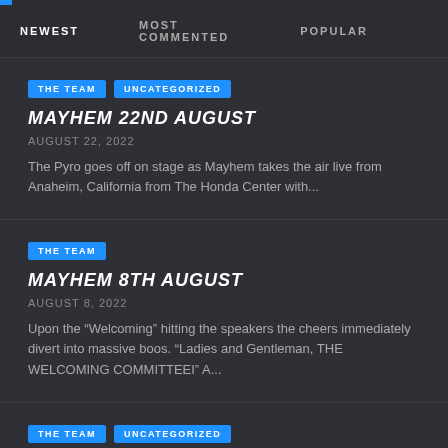NEWEST | MOST COMMENTED | POPULAR
THE TEAM | UNCATEGORIZED
MAYHEM 22ND AUGUST
AUGUST 22, 2022
The Pyro goes off on stage as Mayhem takes the air live from Anaheim, California from The Honda Center with...
THE TEAM
MAYHEM 8TH AUGUST
AUGUST 8, 2022
Upon the “Welcoming” hitting the speakers the cheers immediately divert into massive boos. “Ladies and Gentleman, THE WELCOMING COMMITTEEI” A...
THE TEAM | UNCATEGORIZED
MAYHEM 11TH JULY